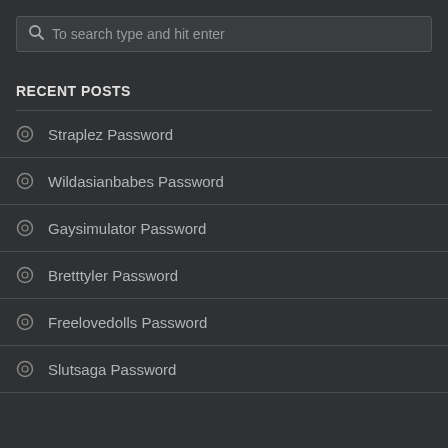[Figure (screenshot): Search box with magnifier icon and placeholder text 'To search type and hit enter']
RECENT POSTS
Straplez Password
Wildasianbabes Password
Gaysimulator Password
Bretttyler Password
Freelovedolls Password
Slutsaga Password